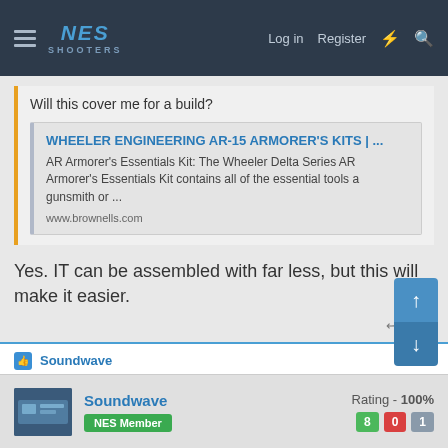[Figure (screenshot): NES Shooters forum navigation bar with hamburger menu, NES logo, Log in, Register, and search/alert icons on dark blue background]
Will this cover me for a build?
[Figure (screenshot): Link card showing: WHEELER ENGINEERING AR-15 ARMORER'S KITS | ... with description: AR Armorer's Essentials Kit: The Wheeler Delta Series AR Armorer's Essentials Kit contains all of the essential tools a gunsmith or ... and URL www.brownells.com]
Yes. IT can be assembled with far less, but this will make it easier.
↩ Reply
👍 Soundwave
Soundwave
NES Member
Rating - 100%
8   0